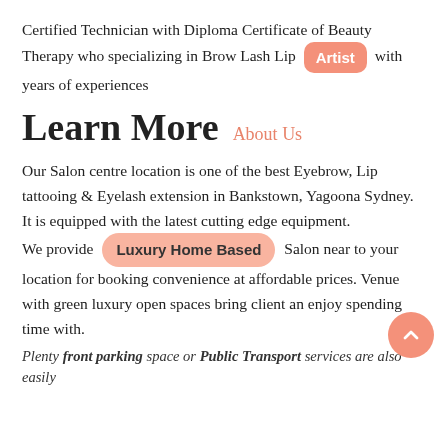Certified Technician with Diploma Certificate of Beauty Therapy who specializing in Brow Lash Lip Artist with years of experiences
Learn More  About Us
Our Salon centre location is one of the best Eyebrow, Lip tattooing & Eyelash extension in Bankstown, Yagoona Sydney. It is equipped with the latest cutting edge equipment.
We provide Luxury Home Based Salon near to your location for booking convenience at affordable prices. Venue with green luxury open spaces bring client an enjoy spending time with.
Plenty front parking space or Public Transport services are also easily